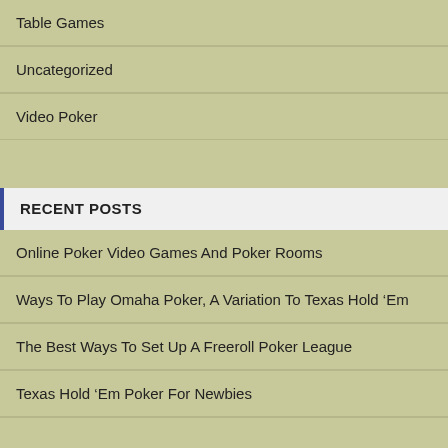Table Games
Uncategorized
Video Poker
RECENT POSTS
Online Poker Video Games And Poker Rooms
Ways To Play Omaha Poker, A Variation To Texas Hold ‘Em
The Best Ways To Set Up A Freeroll Poker League
Texas Hold ‘Em Poker For Newbies